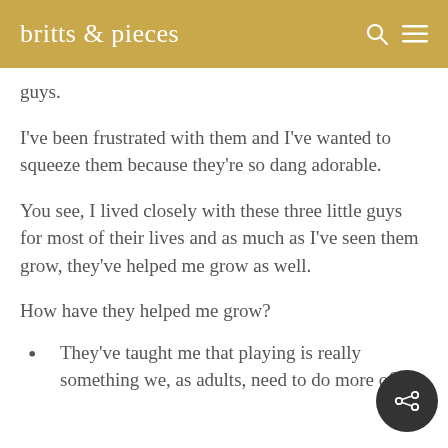britts & pieces
guys.
I've been frustrated with them and I've wanted to squeeze them because they're so dang adorable.
You see, I lived closely with these three little guys for most of their lives and as much as I've seen them grow, they've helped me grow as well.
How have they helped me grow?
They've taught me that playing is really something we, as adults, need to do more often.